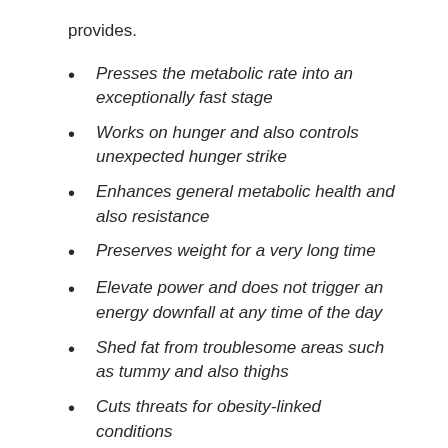provides.
Presses the metabolic rate into an exceptionally fast stage
Works on hunger and also controls unexpected hunger strike
Enhances general metabolic health and also resistance
Preserves weight for a very long time
Elevate power and does not trigger an energy downfall at any time of the day
Shed fat from troublesome areas such as tummy and also thighs
Cuts threats for obesity-linked conditions
Though individual outcomes may vary, utilizing a